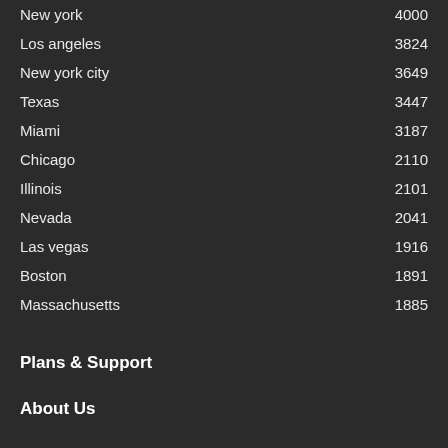New york 4000
Los angeles 3824
New york city 3649
Texas 3447
Miami 3187
Chicago 2110
Illinois 2101
Nevada 2041
Las vegas 1916
Boston 1891
Massachusetts 1885
Plans & Support
About Us